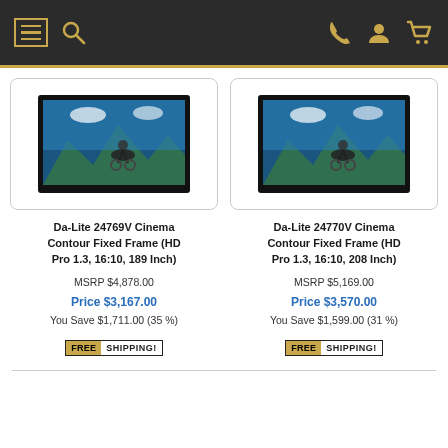Navigation bar with hamburger menu, search, phone, account, and cart icons
[Figure (photo): Da-Lite 24769V Cinema Contour Fixed Frame projection screen showing cyclist on mountain background]
Da-Lite 24769V Cinema Contour Fixed Frame (HD Pro 1.3, 16:10, 189 Inch)
MSRP $4,878.00
Price $3,167.00
You Save $1,711.00 (35 %)
[Figure (photo): Da-Lite 24770V Cinema Contour Fixed Frame projection screen showing cyclist on mountain background]
Da-Lite 24770V Cinema Contour Fixed Frame (HD Pro 1.3, 16:10, 208 Inch)
MSRP $5,169.00
Price $3,570.00
You Save $1,599.00 (31 %)